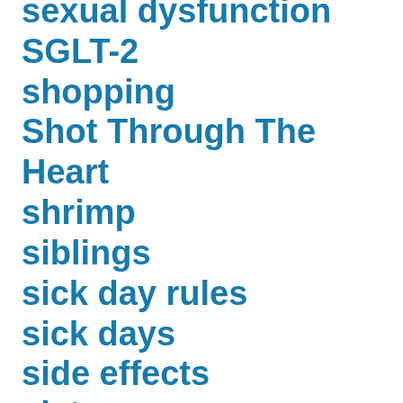sexual dysfunction
SGLT-2
shopping
Shot Through The Heart
shrimp
siblings
sick day rules
sick days
side effects
sisters
skin care
sleep